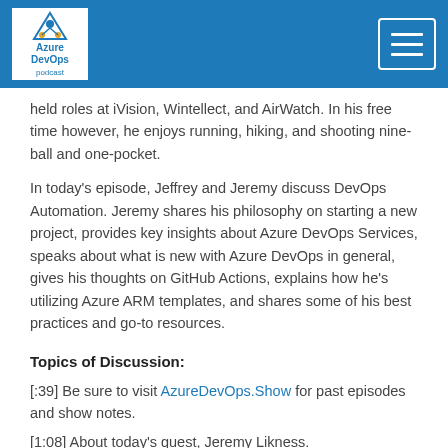Azure DevOps Podcast
held roles at iVision, Wintellect, and AirWatch. In his free time however, he enjoys running, hiking, and shooting nine-ball and one-pocket.
In today's episode, Jeffrey and Jeremy discuss DevOps Automation. Jeremy shares his philosophy on starting a new project, provides key insights about Azure DevOps Services, speaks about what is new with Azure DevOps in general, gives his thoughts on GitHub Actions, explains how he's utilizing Azure ARM templates, and shares some of his best practices and go-to resources.
Topics of Discussion:
[:39] Be sure to visit AzureDevOps.Show for past episodes and show notes.
[1:08] About today's guest, Jeremy Likness.
[1:49] Jeffrey welcomes Jeremy to the podcast.